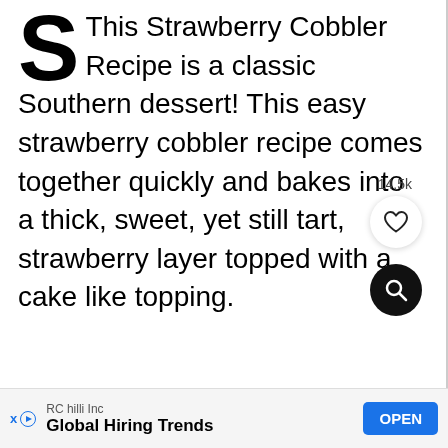S This Strawberry Cobbler Recipe is a classic Southern dessert! This easy strawberry cobbler recipe comes together quickly and bakes into a thick, sweet, yet still tart, strawberry layer topped with a cake like topping.
14.5k
[Figure (other): Heart (like) button icon — circular white button with heart outline]
[Figure (other): Search button icon — circular black button with magnifying glass icon]
RC hilli Inc — Global Hiring Trends — OPEN (advertisement banner)